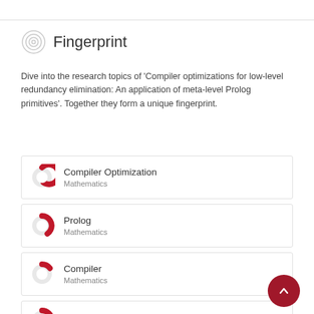Fingerprint
Dive into the research topics of 'Compiler optimizations for low-level redundancy elimination: An application of meta-level Prolog primitives'. Together they form a unique fingerprint.
Compiler Optimization — Mathematics
Prolog — Mathematics
Compiler — Mathematics
Redundancy